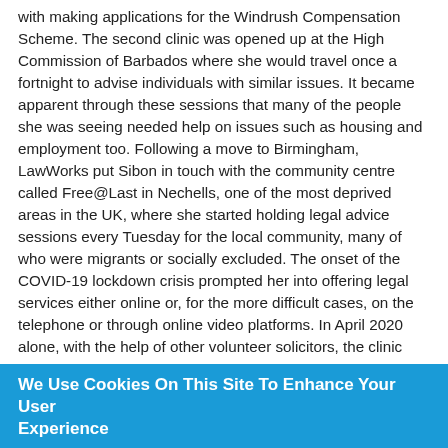with making applications for the Windrush Compensation Scheme.  The second clinic was opened up at the High Commission of Barbados where she would travel once a fortnight to advise individuals with similar issues.   It became apparent through these sessions that many of the people she was seeing needed help on issues such as housing and employment too.  Following a move to Birmingham, LawWorks put Sibon in touch with the community centre called Free@Last in Nechells, one of the most deprived areas in the UK, where she started holding legal advice sessions every Tuesday for the local community, many of who were migrants or socially excluded.  The onset of the COVID-19 lockdown crisis prompted her into offering legal services either online or, for the more difficult cases, on the telephone or through online video platforms.  In April 2020 alone, with the help of other volunteer solicitors, the clinic dealt with 49 enquiries.
A case which demonstrates the impact that United Legal Access has is that of Albert Johnson (known as Pretty), a 90
We Use Cookies On This Site To Enhance Your User Experience